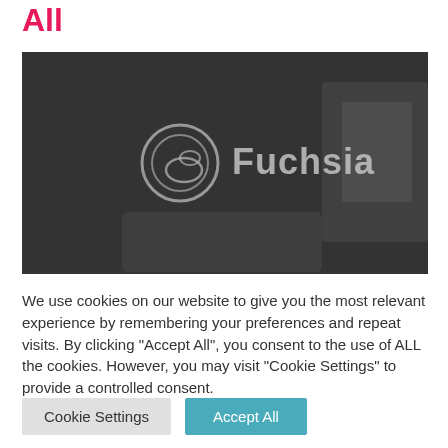All
[Figure (photo): Dark-toned photo of a person using a laptop/tablet with the Fuchsia logo (circle icon and text 'Fuchsia') overlaid in white/gray in the center of the image.]
We use cookies on our website to give you the most relevant experience by remembering your preferences and repeat visits. By clicking "Accept All", you consent to the use of ALL the cookies. However, you may visit "Cookie Settings" to provide a controlled consent.
Cookie Settings
Accept All